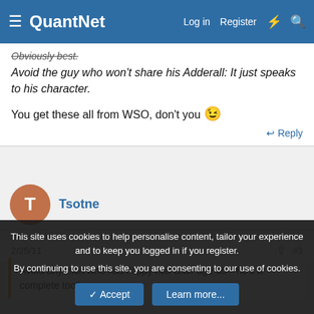QuantNet — Log in  Register
Obviously best.
Avoid the guy who won't share his Adderall: It just speaks to his character.
You get these all from WSO, don't you 😉
Reply
Tsotne
2/25/11
#3
Avoid any man who has floppy hair after age 30—he's a complete toolbox.
This site uses cookies to help personalise content, tailor your experience and to keep you logged in if you register. By continuing to use this site, you are consenting to our use of cookies.